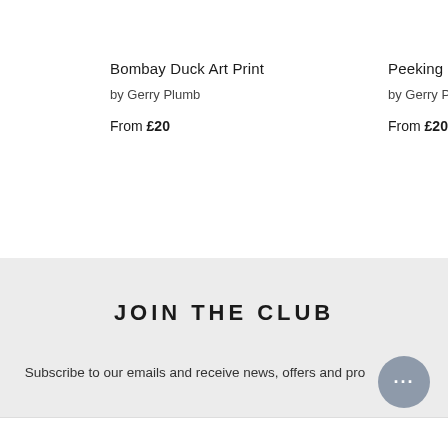Bombay Duck Art Print
by Gerry Plumb
From £20
Peeking D
by Gerry P
From £20
JOIN THE CLUB
Subscribe to our emails and receive news, offers and pro...